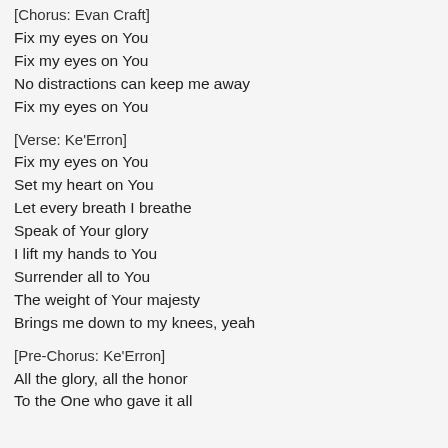[Chorus: Evan Craft]
Fix my eyes on You
Fix my eyes on You
No distractions can keep me away
Fix my eyes on You
[Verse: Ke'Erron]
Fix my eyes on You
Set my heart on You
Let every breath I breathe
Speak of Your glory
I lift my hands to You
Surrender all to You
The weight of Your majesty
Brings me down to my knees, yeah
[Pre-Chorus: Ke'Erron]
All the glory, all the honor
To the One who gave it all